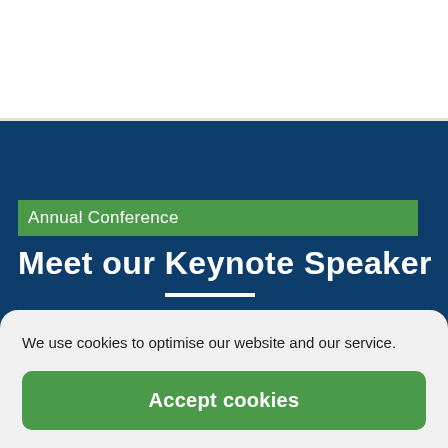[Figure (logo): SCDM Society for Clinical Data Management logo — green and blue diamond shape with 'SCDM' text]
[Figure (other): Hamburger menu icon with three green horizontal bars]
Annual Conference
Meet our Keynote Speaker
We use cookies to optimise our website and our service.
Accept cookies
Deny
View preferences
Cookie Policy